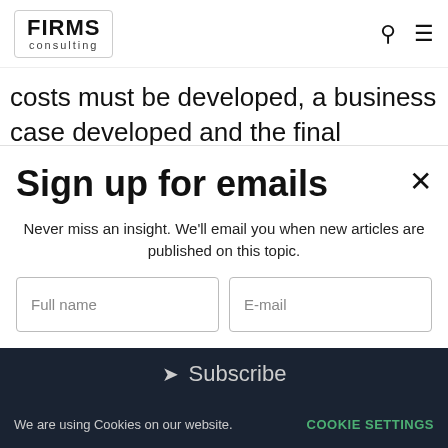FIRMS consulting
costs must be developed, a business case developed and the final process agreed. The same
Sign up for emails
Never miss an insight. We'll email you when new articles are published on this topic.
Full name | E-mail
Subscribe
We are using Cookies on our website. COOKIE SETTINGS